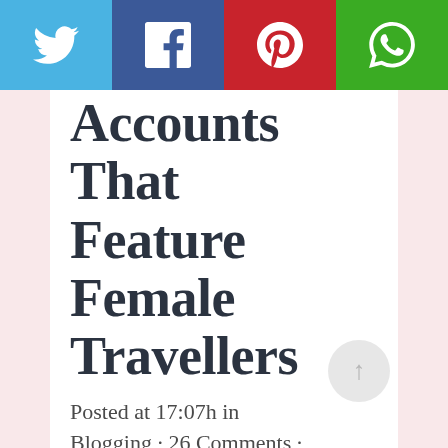[Figure (other): Social media share buttons bar: Twitter (blue), Facebook (dark blue), Pinterest (red), WhatsApp (green)]
Accounts That Feature Female Travellers
Posted at 17:07h in Blogging · 26 Comments ·
Getting noticed on Instagram is not easy. How should people find you, among more than 500 million